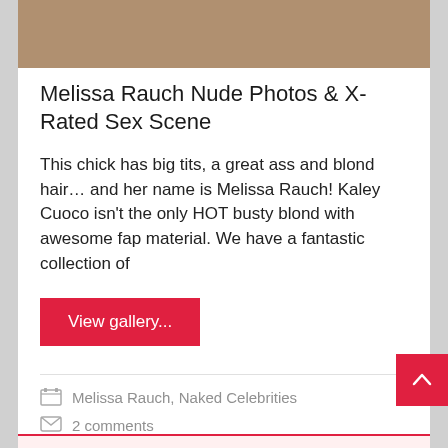[Figure (photo): Partial image at top of article card showing people, cropped at top]
Melissa Rauch Nude Photos & X-Rated Sex Scene
This chick has big tits, a great ass and blond hair… and her name is Melissa Rauch!  Kaley Cuoco isn't the only HOT busty blond with awesome fap material.  We have a fantastic collection of
View gallery...
Melissa Rauch, Naked Celebrities
2 comments